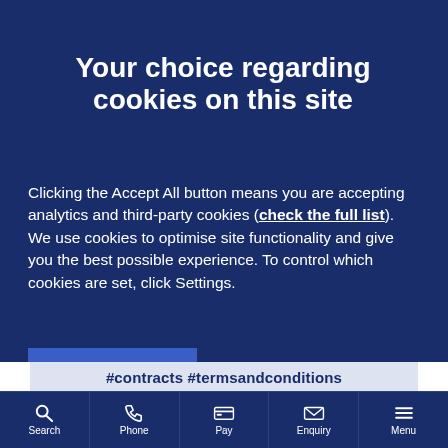Your choice regarding cookies on this site
Clicking the Accept All button means you are accepting analytics and third-party cookies (check the full list). We use cookies to optimise site functionality and give you the best possible experience. To control which cookies are set, click Settings.
Accept All
Settings
#contracts #termsandconditions
Search | Phone | Pay | Enquiry | Menu